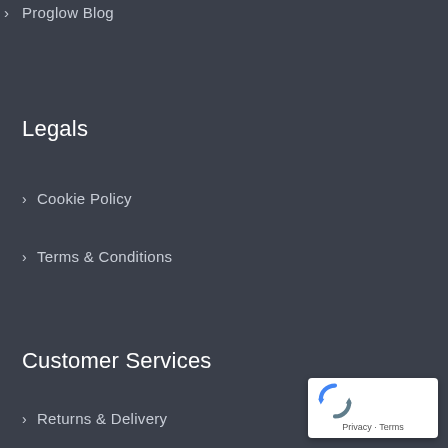› Proglow Blog
Legals
› Cookie Policy
› Terms & Conditions
Customer Services
› Returns & Delivery
[Figure (logo): Google reCAPTCHA badge with recaptcha icon and Privacy - Terms text]